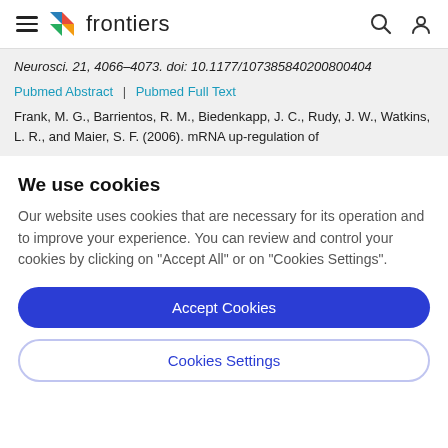frontiers
Neurosci. 21, 4066–4073. doi: 10.1177/107385840200800404
Pubmed Abstract | Pubmed Full Text
Frank, M. G., Barrientos, R. M., Biedenkapp, J. C., Rudy, J. W., Watkins, L. R., and Maier, S. F. (2006). mRNA up-regulation of
We use cookies
Our website uses cookies that are necessary for its operation and to improve your experience. You can review and control your cookies by clicking on "Accept All" or on "Cookies Settings".
Accept Cookies
Cookies Settings